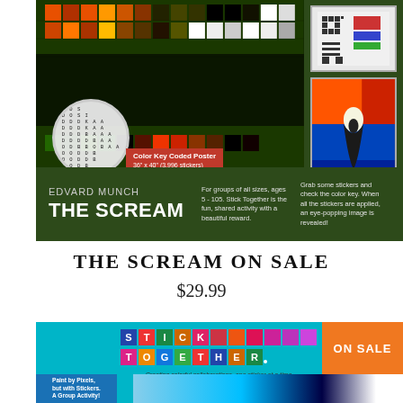[Figure (photo): Edvard Munch The Scream sticker poster product image showing pixelated artwork, magnifier circle with color-coded grid, color key coded poster label, thumbnail images on right side including QR code and colorful version of The Scream painting]
THE SCREAM ON SALE
$29.99
[Figure (photo): Stick Together product image with teal background, Stick Together logo, ON SALE badge in orange, Paint by Pixels tagline, and pixelated sticker art preview at bottom]